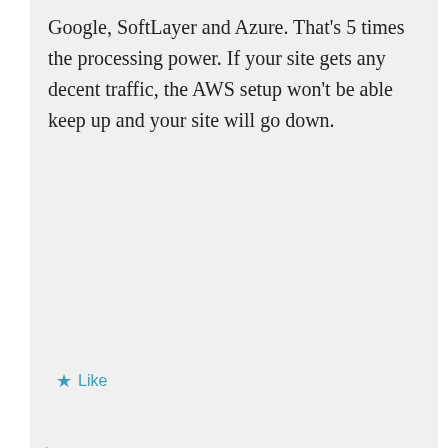Google, SoftLayer and Azure. That's 5 times the processing power. If your site gets any decent traffic, the AWS setup won't be able keep up and your site will go down.
★ Like
↳ Reply
Advertisements
[Figure (other): Dark advertisement banner: circular icon with bonsai tree, teal text 'Turn your blog into a money-making online course.' with right arrow]
REPORT THIS AD
jithitter on 27 November 2016 at 08:33
Advertisements
[Figure (other): Ulta Beauty advertisement banner showing makeup/beauty images with SHOP NOW button]